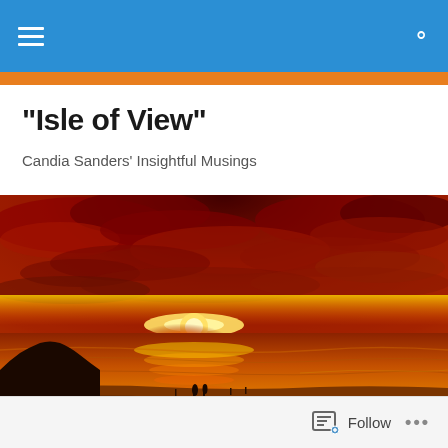Navigation bar with hamburger menu and search icon
"Isle of View"
Candia Sanders' Insightful Musings
[Figure (photo): Dramatic sunset beach scene with vivid red and orange sky, silhouetted people walking along the shoreline with water reflections of the golden sun]
Follow ...